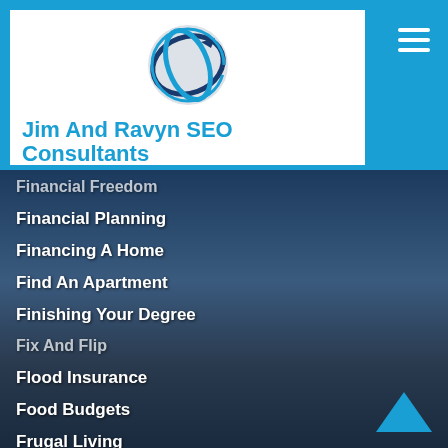[Figure (logo): Jim And Ravyn SEO Consultants logo with blue circular arrow icon]
Jim And Ravyn SEO Consultants
[Figure (photo): Background photo of a laptop on a desk showing analytics dashboard]
Financial Freedom
Financial Planning
Financing A Home
Find An Apartment
Finishing Your Degree
Fix And Flip
Flood Insurance
Food Budgets
Frugal Living
Growing Wealth
Guest Post Ultimate Guide